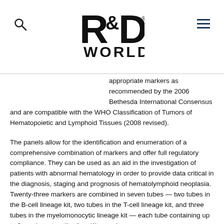R&D WORLD
appropriate markers as recommended by the 2006 Bethesda International Consensus and are compatible with the WHO Classification of Tumors of Hematopoietic and Lymphoid Tissues (2008 revised).
The panels allow for the identification and enumeration of a comprehensive combination of markers and offer full regulatory compliance. They can be used as an aid in the investigation of patients with abnormal hematology in order to provide data critical in the diagnosis, staging and prognosis of hematolymphoid neoplasia.  Twenty-three markers are combined in seven tubes — two tubes in the B-cell lineage kit, two tubes in the T-cell lineage kit, and three tubes in the myelomonocytic lineage kit — each tube containing up to five relevant antibodies. Kits can be run